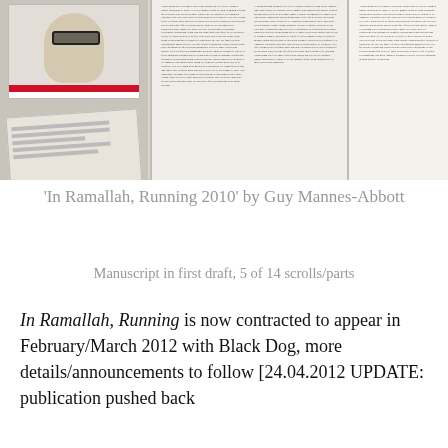[Figure (photo): Photo collage showing: top-left a portrait illustration of a man with sunglasses with a flag strip and some documents below; center a manuscript scroll/book open showing dense text columns; right another scroll/column of text on white background]
'In Ramallah, Running 2010' by Guy Mannes-Abbott
Manuscript in first draft, 5 of 14 scrolls/parts
In Ramallah, Running is now contracted to appear in February/March 2012 with Black Dog, more details/announcements to follow [24.04.2012 UPDATE: publication pushed back